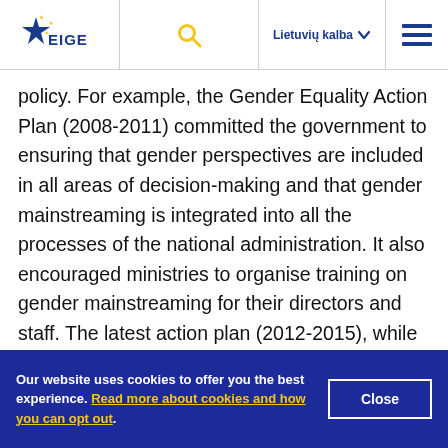EIGE | Lietuvių kalba
policy. For example, the Gender Equality Action Plan (2008-2011) committed the government to ensuring that gender perspectives are included in all areas of decision-making and that gender mainstreaming is integrated into all the processes of the national administration. It also encouraged ministries to organise training on gender mainstreaming for their directors and staff. The latest action plan (2012-2015), while having similar
Our website uses cookies to offer you the best experience. Read more about cookies and how you can opt out.